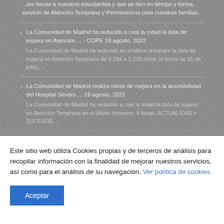...las becas a nuestros estudiantes y que se den en tiempo y forma, servicio de Atención Temprana y Permanencia para nuestras familias.
La Comunidad de Madrid ha reducido a casi la mitad la lista de espera en Atención ... - COPE 19 agosto, 2022
La Comunidad de Madrid ha reducido en el último trimestre la lista de espera en Atención Temprana de 2.204 a 1.228 niños (a fecha de 31 de julio), ...
La Comunidad de Madrid realiza obras de mejora en la accesibilidad del Hospital Severo ... 19 agosto, 2022
La Comunidad de Madrid ha reducido a casi la mitad la lista de espera en Atención Temprana en el último trimestre. 4 horas. ACTUALIDAD • SUCESOS ...
Este sitio web utiliza Cookies propias y de terceros de análisis para recopilar información con la finalidad de mejorar nuestros servicios, así como para el análisis de su navegación. Ver política de cookies